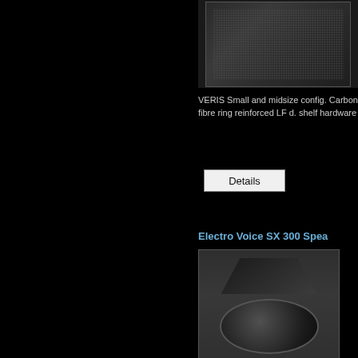[Figure (photo): Speaker cabinet photo - VERIS small/midsize configuration, dark enclosure with mesh grille]
VERIS Small and midsize config. Carbon fibre ring reinforced LF d. shelf hardware
Details
Electro Voice SX 300 Spea
[Figure (photo): Electro Voice SX 300 speaker cabinet photo, dark enclosure with horn and woofer visible]